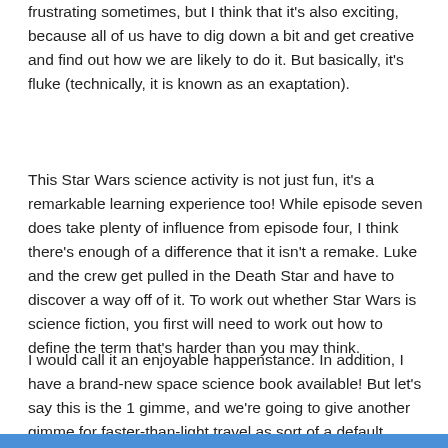frustrating sometimes, but I think that it's also exciting, because all of us have to dig down a bit and get creative and find out how we are likely to do it. But basically, it's fluke (technically, it is known as an exaptation).
This Star Wars science activity is not just fun, it's a remarkable learning experience too! While episode seven does take plenty of influence from episode four, I think there's enough of a difference that it isn't a remake. Luke and the crew get pulled in the Death Star and have to discover a way off of it. To work out whether Star Wars is science fiction, you first will need to work out how to define the term that's harder than you may think.
I would call it an enjoyable happenstance. In addition, I have a brand-new space science book available! But let's say this is the 1 gimme, and we're going to give another gimme for faster-than-light travel as sort of a default alternative for a lot of science fiction. Each day is centered around science experiments associated with movies. A few of the ways that we're healing people today might already look like science fiction, since these videos show.